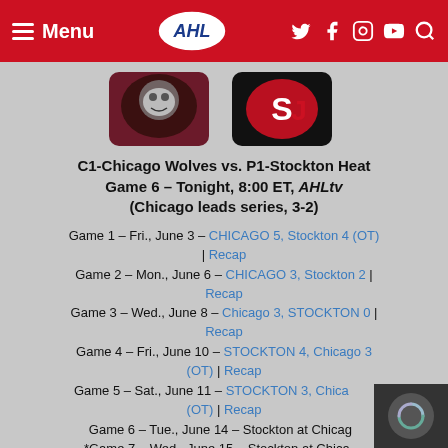Menu | AHL | social icons
[Figure (logo): Chicago Wolves logo and Stockton Heat logo side by side]
C1-Chicago Wolves vs. P1-Stockton Heat Game 6 – Tonight, 8:00 ET, AHLtv (Chicago leads series, 3-2)
Game 1 – Fri., June 3 – CHICAGO 5, Stockton 4 (OT) | Recap
Game 2 – Mon., June 6 – CHICAGO 3, Stockton 2 | Recap
Game 3 – Wed., June 8 – Chicago 3, STOCKTON 0 | Recap
Game 4 – Fri., June 10 – STOCKTON 4, Chicago 3 (OT) | Recap
Game 5 – Sat., June 11 – STOCKTON 3, Chicago 2 (OT) | Recap
Game 6 – Tue., June 14 – Stockton at Chicago
*Game 7 – Wed., June 15 – Stockton at Chicago